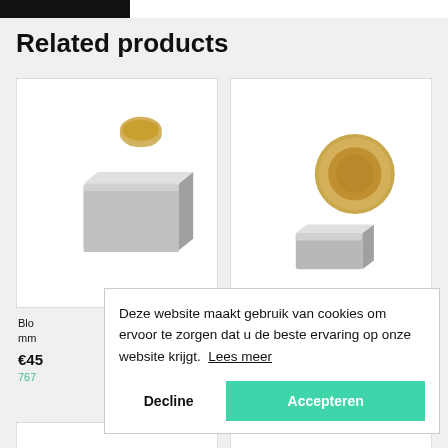Related products
[Figure (photo): Product card showing a silver block magnet next to a small coin for size reference, on white background]
[Figure (photo): Product card showing a small flat rectangular magnet next to a 2 euro coin for size reference, on white background]
Blo mm
€45
767
Deze website maakt gebruik van cookies om ervoor te zorgen dat u de beste ervaring op onze website krijgt. Lees meer
Decline
Accepteren